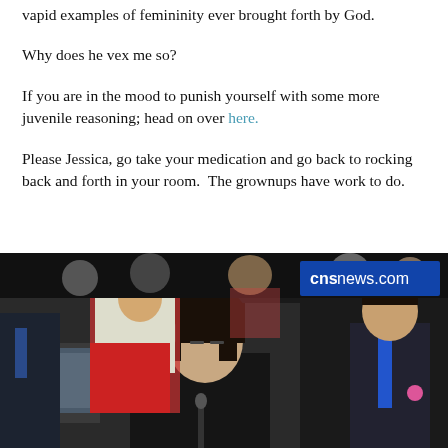vapid examples of femininity ever brought forth by God.
Why does he vex me so?
If you are in the mood to punish yourself with some more juvenile reasoning; head on over here.
Please Jessica, go take your medication and go back to rocking back and forth in your room.  The grownups have work to do.
[Figure (photo): A photograph of people in what appears to be a hearing room or conference setting. A woman with dark hair in the foreground appears to be testifying or sitting at a panel. In the upper right corner is a watermark reading 'cnsnews.com' in white text on a blue/dark background.]